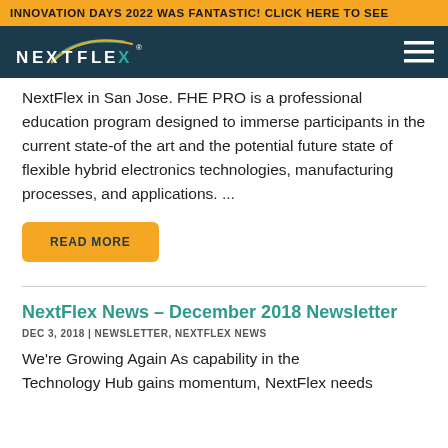INNOVATION DAYS 2022 WAS FANTASTIC! CLICK HERE TO SEE
[Figure (logo): NextFlex logo on dark teal navigation bar with hamburger menu icon]
NextFlex in San Jose. FHE PRO is a professional education program designed to immerse participants in the current state-of the art and the potential future state of flexible hybrid electronics technologies, manufacturing processes, and applications. ...
READ MORE
NextFlex News – December 2018 Newsletter
DEC 3, 2018 | NEWSLETTER, NEXTFLEX NEWS
We're Growing Again As capability in the Technology Hub gains momentum, NextFlex needs